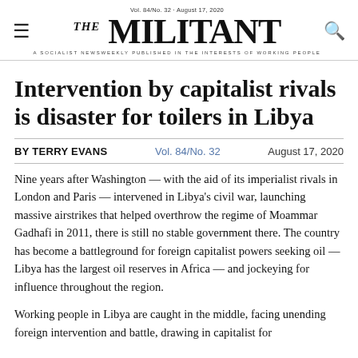THE MILITANT — A SOCIALIST NEWSWEEKLY PUBLISHED IN THE INTERESTS OF WORKING PEOPLE — Vol. 84/No. 32 · August 17, 2020
Intervention by capitalist rivals is disaster for toilers in Libya
BY TERRY EVANS   Vol. 84/No. 32   August 17, 2020
Nine years after Washington — with the aid of its imperialist rivals in London and Paris — intervened in Libya's civil war, launching massive airstrikes that helped overthrow the regime of Moammar Gadhafi in 2011, there is still no stable government there. The country has become a battleground for foreign capitalist powers seeking oil — Libya has the largest oil reserves in Africa — and jockeying for influence throughout the region.
Working people in Libya are caught in the middle, facing unending foreign intervention and battle, drawing in capitalist for...